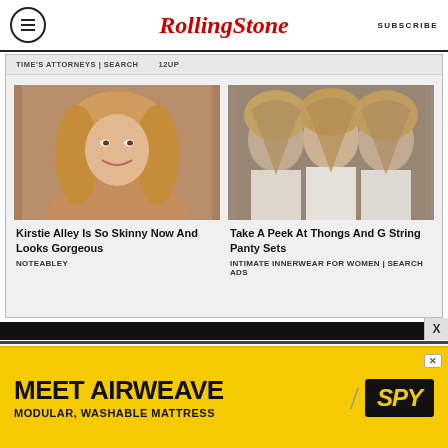Rolling Stone | SUBSCRIBE
TIME'S ATTORNEYS | SEARCH   12UP
[Figure (photo): Kirstie Alley smiling, blonde hair]
Kirstie Alley Is So Skinny Now And Looks Gorgeous
NOTEABLEY
[Figure (photo): Three women with long blonde hair posing in white clothing]
Take A Peek At Thongs And G String Panty Sets
INTIMATE INNERWEAR FOR WOMEN | SEARCH ADS
[Figure (photo): MEET AIRWEAVE MODULAR, WASHABLE MATTRESS advertisement with SPY logo]